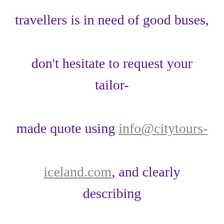travellers is in need of good buses, don't hesitate to request your tailor-made quote using info@citytours-iceland.com, and clearly describing the quantity of persons to be transported, the ride and further specifications. The more you tell us about your specifications for your voyagers, the better we are able to